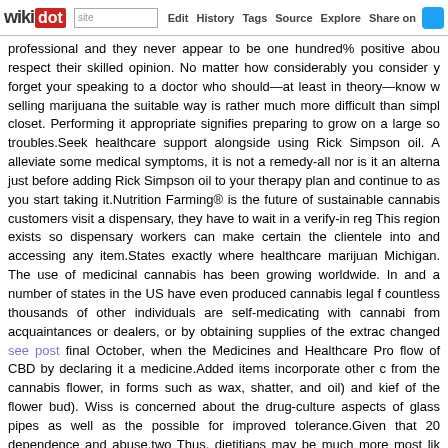wikidot | site | Edit | History | Tags | Source | Explore | Share on [Twitter]
professional and they never appear to be one hundred% positive about respect their skilled opinion. No matter how considerably you consider y forget your speaking to a doctor who should—at least in theory—know w selling marijuana the suitable way is rather much more difficult than simpl closet. Performing it appropriate signifies preparing to grow on a large so troubles.Seek healthcare support alongside using Rick Simpson oil. A alleviate some medical symptoms, it is not a remedy-all nor is it an alterna just before adding Rick Simpson oil to your therapy plan and continue to as you start taking it.Nutrition Farming® is the future of sustainable cannabis customers visit a dispensary, they have to wait in a verify-in reg This region exists so dispensary workers can make certain the clientele into and accessing any item.States exactly where healthcare marijuan Michigan. The use of medicinal cannabis has been growing worldwide. In and a number of states in the US have even produced cannabis legal f countless thousands of other individuals are self-medicating with cannabi from acquaintances or dealers, or by obtaining supplies of the extrac changed see post final October, when the Medicines and Healthcare Pro flow of CBD by declaring it a medicine.Added items incorporate other c from the cannabis flower, in forms such as wax, shatter, and oil) and kief of the flower bud). Wiss is concerned about the drug-culture aspects of glass pipes as well as the possible for improved tolerance.Given that 20 dependence and abuse.two Thus, dietitians may be much more most lik consumption is problematic. As mentioned, it depends on the region cancer patients, some of whom may have a poor prognosis, she isn dependence on cannabis. She says her patients generally are rare or revert back to that right after therapy.Never take healthcare marijuana without having medical marijuana applications in location. Any time y health-related ID card handy and never ever smoke while you're driving.